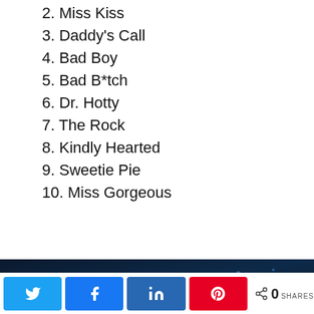2. Miss Kiss
3. Daddy's Call
4. Bad Boy
5. Bad B*tch
6. Dr. Hotty
7. The Rock
8. Kindly Hearted
9. Sweetie Pie
10. Miss Gorgeous
[Figure (photo): Dark blue-toned photo, appears to be a car interior or night scene]
Twitter share, Facebook share, LinkedIn share, Pinterest share, 0 SHARES